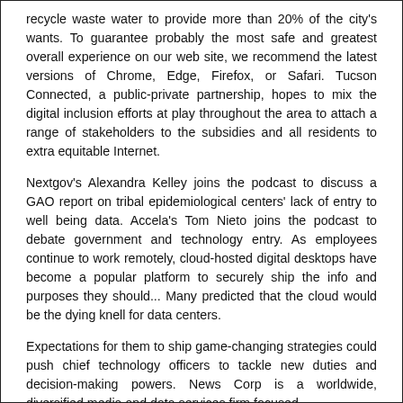recycle waste water to provide more than 20% of the city's wants. To guarantee probably the most safe and greatest overall experience on our web site, we recommend the latest versions of Chrome, Edge, Firefox, or Safari. Tucson Connected, a public-private partnership, hopes to mix the digital inclusion efforts at play throughout the area to attach a range of stakeholders to the subsidies and all residents to extra equitable Internet.
Nextgov's Alexandra Kelley joins the podcast to discuss a GAO report on tribal epidemiological centers' lack of entry to well being data. Accela's Tom Nieto joins the podcast to debate government and technology entry. As employees continue to work remotely, cloud-hosted digital desktops have become a popular platform to securely ship the info and purposes they should... Many predicted that the cloud would be the dying knell for data centers.
Expectations for them to ship game-changing strategies could push chief technology officers to tackle new duties and decision-making powers. News Corp is a worldwide, diversified media and data services firm focused...